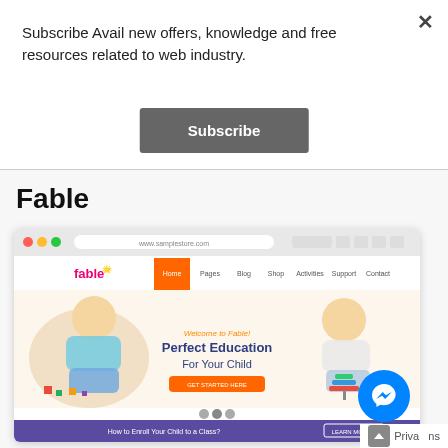Subscribe Avail new offers, knowledge and free resources related to web industry.
Subscribe
Fable
[Figure (screenshot): Browser mockup screenshot of the Fable website showing a children's education theme with 'Welcome to Fable! Perfect Education For Your Child' headline, two toddlers playing with colorful toys, and a purple footer bar saying 'How to Enroll Your Child to a Class?']